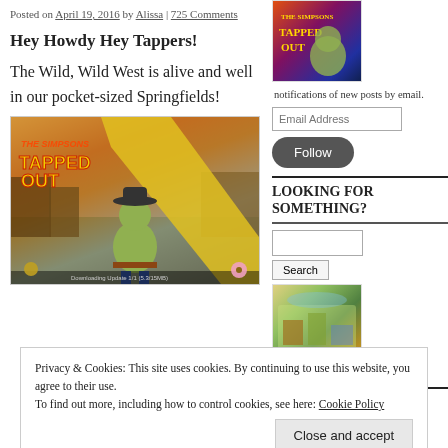Posted on April 19, 2016 by Alissa | 725 Comments
Hey Howdy Hey Tappers!
The Wild, Wild West is alive and well in our pocket-sized Springfields!
[Figure (screenshot): Simpsons Tapped Out game screenshot showing Homer in a cowboy hat in a Wild West setting with 'Tapped Out' title text]
[Figure (illustration): Simpsons Tapped Out promotional image with colored background]
notifications of new posts by email.
[Figure (screenshot): Simpsons Tapped Out aerial view of Springfield game map]
More Photos
LOOKING FOR SOMETHING?
ARCHIVES
Privacy & Cookies: This site uses cookies. By continuing to use this website, you agree to their use. To find out more, including how to control cookies, see here: Cookie Policy